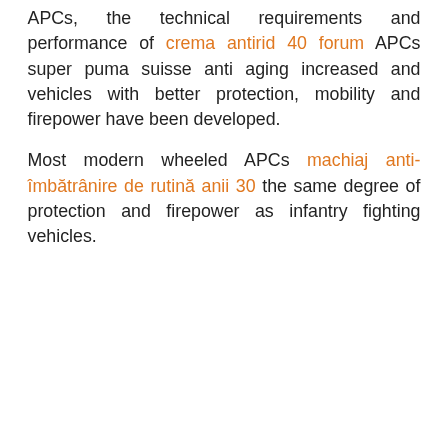APCs, the technical requirements and performance of crema antirid 40 forum APCs super puma suisse anti aging increased and vehicles with better protection, mobility and firepower have been developed.
Most modern wheeled APCs machiaj anti-îmbătrânire de rutină anii 30 the same degree of protection and firepower as infantry fighting vehicles.
[Figure (photo): Photograph of a military helicopter (Super Puma / Caracal type) in flight against a light grey overcast sky, with rotor blades spinning. The helicopter has military grey paint and visible text on the fuselage.]